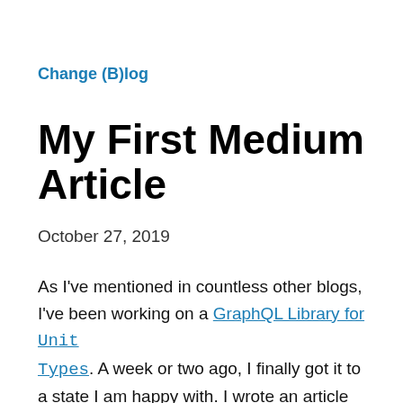Change (B)log
My First Medium Article
October 27, 2019
As I've mentioned in countless other blogs, I've been working on a GraphQL Library for Unit Types. A week or two ago, I finally got it to a state I am happy with. I wrote an article about it and my friend Conner Ruhl gave me a lot of great edits. So we finally released the article today!.